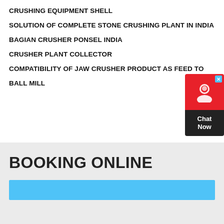CRUSHING EQUIPMENT SHELL
SOLUTION OF COMPLETE STONE CRUSHING PLANT IN INDIA
BAGIAN CRUSHER PONSEL INDIA
CRUSHER PLANT COLLECTOR
COMPATIBILITY OF JAW CRUSHER PRODUCT AS FEED TO BALL MILL
[Figure (infographic): Chat Now widget with red top section showing a person icon and a close X button, and a dark bottom section with 'Chat Now' text]
BOOKING ONLINE
[Figure (other): Light blue horizontal bar at the bottom of the page]